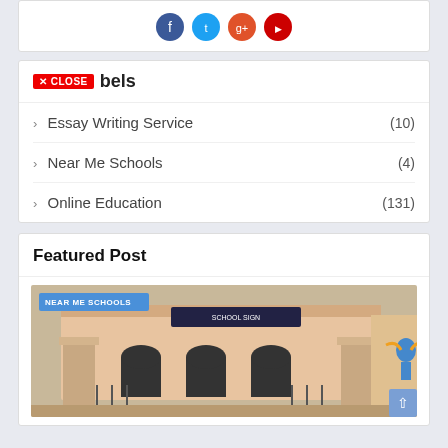[Figure (illustration): Social media share icons (Facebook blue, Twitter blue, Google+ orange, YouTube red) in circles at top]
× CLOSE  bels
› Essay Writing Service (10)
› Near Me Schools (4)
› Online Education (131)
Featured Post
[Figure (photo): School building entrance with arched doorways, gate, concrete pillars, and a mural of a blue winged figure on the right wall. A badge reading NEAR ME SCHOOLS overlaid at top left.]